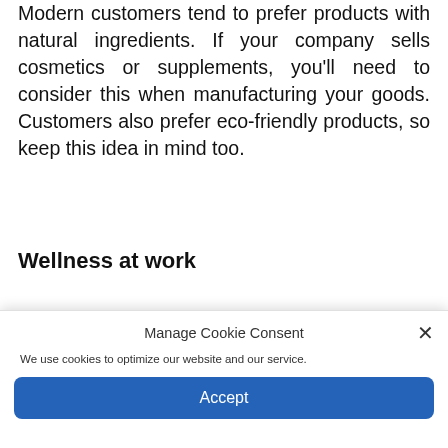Modern customers tend to prefer products with natural ingredients. If your company sells cosmetics or supplements, you'll need to consider this when manufacturing your goods. Customers also prefer eco-friendly products, so keep this idea in mind too.
Wellness at work
Manage Cookie Consent
We use cookies to optimize our website and our service.
Accept